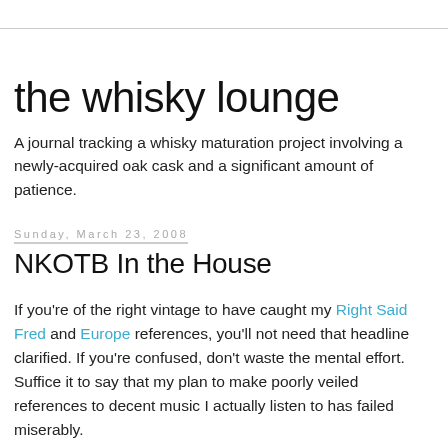the whisky lounge
A journal tracking a whisky maturation project involving a newly-acquired oak cask and a significant amount of patience.
Sunday, March 23, 2008
NKOTB In the House
If you're of the right vintage to have caught my Right Said Fred and Europe references, you'll not need that headline clarified. If you're confused, don't waste the mental effort. Suffice it to say that my plan to make poorly veiled references to decent music I actually listen to has failed miserably.